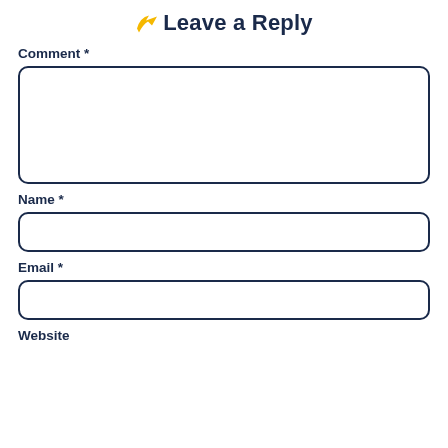Leave a Reply
Comment *
Name *
Email *
Website